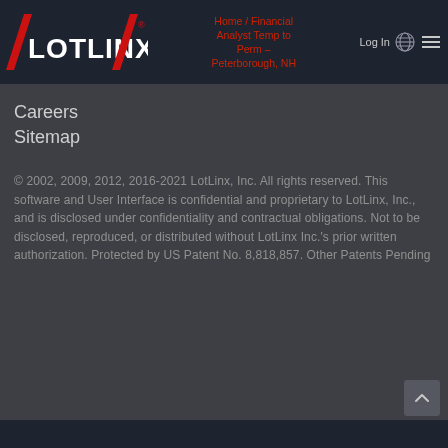LotLinx logo / Home / Financial Analyst Temp to Perm – Peterborough, NH / Log In
Careers
Sitemap
© 2002, 2009, 2012, 2016-2021 LotLinx, Inc. All rights reserved. This software and User Interface is confidential and proprietary to LotLinx, Inc., and is disclosed under confidentiality and contractual obligations. Not to be disclosed, reproduced, or distributed without LotLinx Inc.'s prior written authorization. Protected by US Patent No. 8,818,857. Other Patents Pending